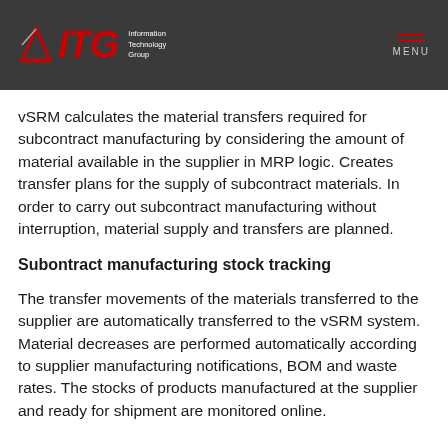ITG Information Technology Group | MENU
vSRM calculates the material transfers required for subcontract manufacturing by considering the amount of material available in the supplier in MRP logic. Creates transfer plans for the supply of subcontract materials. In order to carry out subcontract manufacturing without interruption, material supply and transfers are planned.
Subontract manufacturing stock tracking
The transfer movements of the materials transferred to the supplier are automatically transferred to the vSRM system. Material decreases are performed automatically according to supplier manufacturing notifications, BOM and waste rates. The stocks of products manufactured at the supplier and ready for shipment are monitored online.